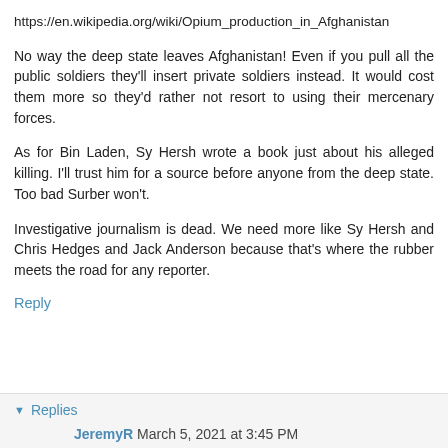https://en.wikipedia.org/wiki/Opium_production_in_Afghanistan
No way the deep state leaves Afghanistan! Even if you pull all the public soldiers they'll insert private soldiers instead. It would cost them more so they'd rather not resort to using their mercenary forces.
As for Bin Laden, Sy Hersh wrote a book just about his alleged killing. I'll trust him for a source before anyone from the deep state. Too bad Surber won't.
Investigative journalism is dead. We need more like Sy Hersh and Chris Hedges and Jack Anderson because that's where the rubber meets the road for any reporter.
Reply
Replies
JeremyR March 5, 2021 at 3:45 PM